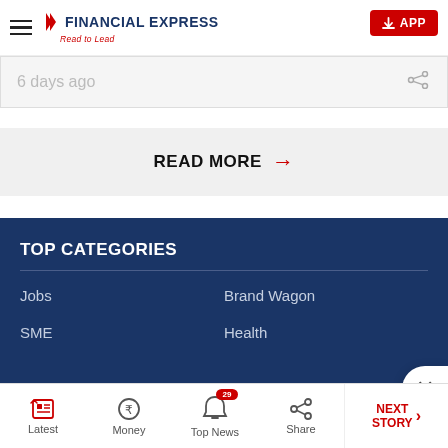Financial Express - Read to Lead
6 days ago
READ MORE →
TOP CATEGORIES
Jobs
Brand Wagon
SME
Health
Latest | Money | Top News 29 | Share | NEXT STORY